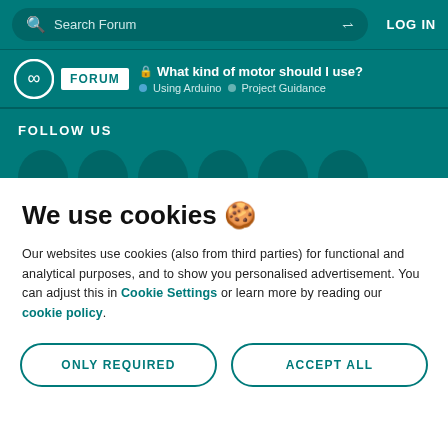Search Forum | LOG IN
What kind of motor should I use? | Using Arduino | Project Guidance
FOLLOW US
We use cookies 🍪
Our websites use cookies (also from third parties) for functional and analytical purposes, and to show you personalised advertisement. You can adjust this in Cookie Settings or learn more by reading our cookie policy.
ONLY REQUIRED
ACCEPT ALL